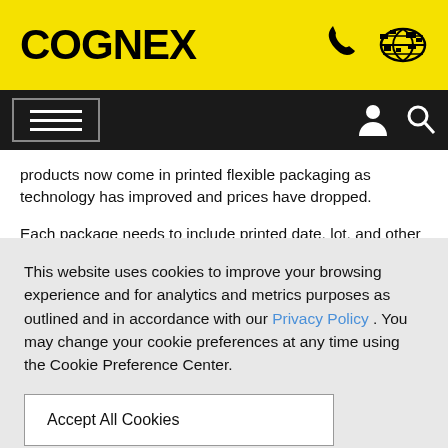COGNEX
products now come in printed flexible packaging as technology has improved and prices have dropped.
Each package needs to include printed date, lot, and other
This website uses cookies to improve your browsing experience and for analytics and metrics purposes as outlined and in accordance with our Privacy Policy . You may change your cookie preferences at any time using the Cookie Preference Center.
Accept All Cookies
Cookie Preference Center